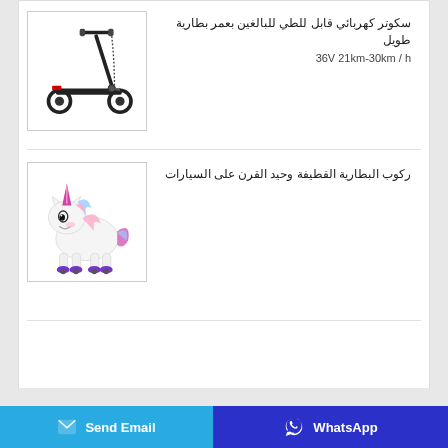[Figure (photo): Electric scooter product image - black folding electric scooter]
سكوتر كهربائي قابل للطي للبالغين بعمر بطارية طويل
36V 21km-30km / h
[Figure (photo): White plush unicorn ride-on toy with purple horn and hooves]
ركوب البطارية القطيفة وحيد القرن على السيارات
Send Email
WhatsApp